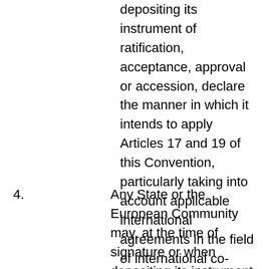depositing its instrument of ratification, acceptance, approval or accession, declare the manner in which it intends to apply Articles 17 and 19 of this Convention, particularly taking into account applicable international agreements in the field of international co-operation in criminal matters. It shall notify any changes in this information to the Secretary General of the Council of Europe.
4.	Any State or the European Community may, at the time of signature or when depositing its instrument of ratification, acceptance, approval or accession, declare: